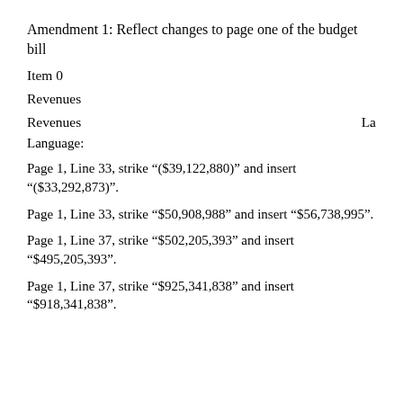Amendment 1: Reflect changes to page one of the budget bill
Item 0
Revenues
Revenues
Language:
Page 1, Line 33, strike "($39,122,880)" and insert "($33,292,873)".
Page 1, Line 33, strike "$50,908,988" and insert "$56,738,995".
Page 1, Line 37, strike "$502,205,393" and insert "$495,205,393".
Page 1, Line 37, strike "$925,341,838" and insert "$918,341,838".